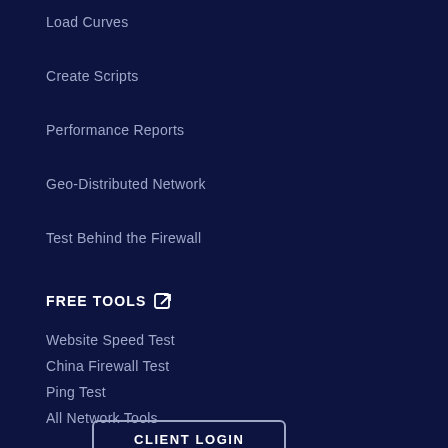Load Curves
Create Scripts
Performance Reports
Geo-Distributed Network
Test Behind the Firewall
FREE TOOLS ↗
Website Speed Test
China Firewall Test
Ping Test
All Network Tools
CLIENT LOGIN